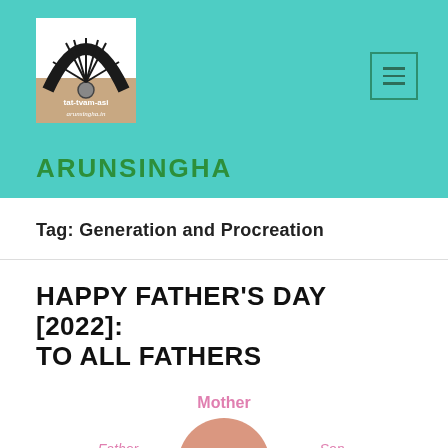[Figure (logo): Wheel/chakra logo for arunsingha.in with text tat-tvam-asi and arunsingha.in below]
ARUNSINGHA
Tag: Generation and Procreation
HAPPY FATHER'S DAY [2022]: TO ALL FATHERS
[Figure (illustration): Diagram showing Mother, Father, and Son relationship with overlapping circles]